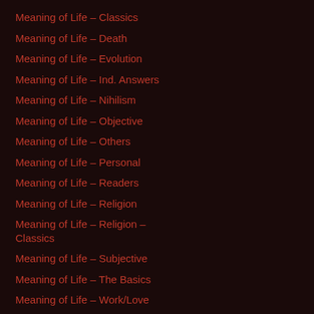Meaning of Life – Classics
Meaning of Life – Death
Meaning of Life – Evolution
Meaning of Life – Ind. Answers
Meaning of Life – Nihilism
Meaning of Life – Objective
Meaning of Life – Others
Meaning of Life – Personal
Meaning of Life – Readers
Meaning of Life – Religion
Meaning of Life – Religion – Classics
Meaning of Life – Subjective
Meaning of Life – The Basics
Meaning of Life – Work/Love